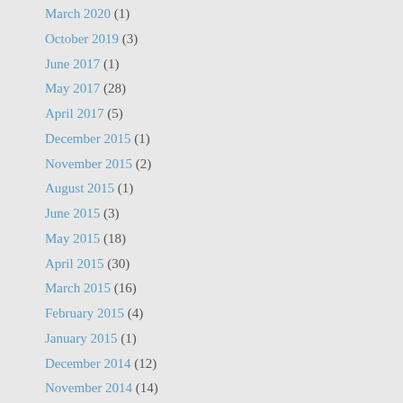March 2020 (1)
October 2019 (3)
June 2017 (1)
May 2017 (28)
April 2017 (5)
December 2015 (1)
November 2015 (2)
August 2015 (1)
June 2015 (3)
May 2015 (18)
April 2015 (30)
March 2015 (16)
February 2015 (4)
January 2015 (1)
December 2014 (12)
November 2014 (14)
October 2014 (8)
September 2014 (15)
August 2014 (26)
July 2014 (31)